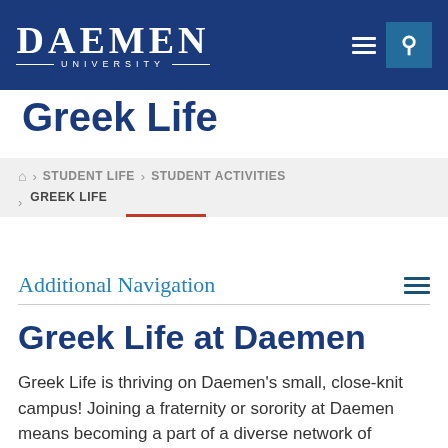[Figure (logo): Daemen University logo with white text on dark blue background, with hamburger menu and search icons]
Greek Life
🏠 > STUDENT LIFE > STUDENT ACTIVITIES > GREEK LIFE
Additional Navigation
Greek Life at Daemen
Greek Life is thriving on Daemen's small, close-knit campus! Joining a fraternity or sorority at Daemen means becoming a part of a diverse network of students and